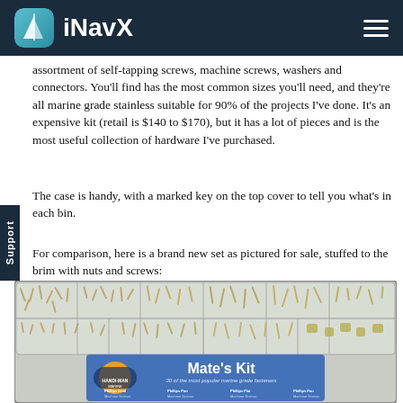iNavX
assortment of self-tapping screws, machine screws, washers and connectors. You’ll find has the most common sizes you’ll need, and they’re all marine grade stainless suitable for 90% of the projects I’ve done. It’s an expensive kit (retail is $140 to $170), but it has a lot of pieces and is the most useful collection of hardware I’ve purchased.
The case is handy, with a marked key on the top cover to tell you what’s in each bin.
For comparison, here is a brand new set as pictured for sale, stuffed to the brim with nuts and screws:
[Figure (photo): A plastic compartmented case labeled 'Mate's Kit' by Handi-Man Marine, filled with assorted marine grade stainless steel screws, nuts and fasteners in multiple compartments.]